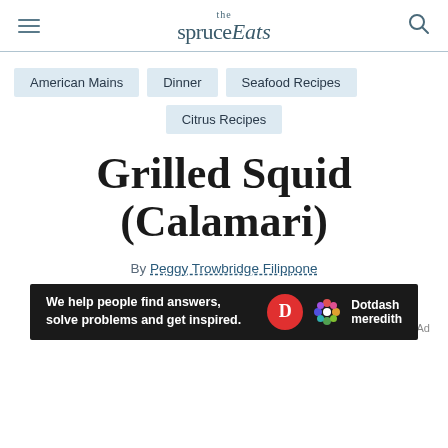the spruce Eats
American Mains
Dinner
Seafood Recipes
Citrus Recipes
Grilled Squid (Calamari)
By Peggy Trowbridge Filippone
Updated on 08/16/22
Tested by Diana Rattray
[Figure (screenshot): Dotdash Meredith advertisement banner: 'We help people find answers, solve problems and get inspired.' with Dotdash Meredith logo]